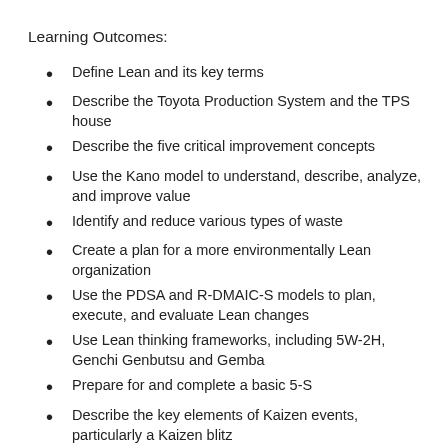Learning Outcomes:
Define Lean and its key terms
Describe the Toyota Production System and the TPS house
Describe the five critical improvement concepts
Use the Kano model to understand, describe, analyze, and improve value
Identify and reduce various types of waste
Create a plan for a more environmentally Lean organization
Use the PDSA and R-DMAIC-S models to plan, execute, and evaluate Lean changes
Use Lean thinking frameworks, including 5W-2H, Genchi Genbutsu and Gemba
Prepare for and complete a basic 5-S
Describe the key elements of Kaizen events, particularly a Kaizen blitz